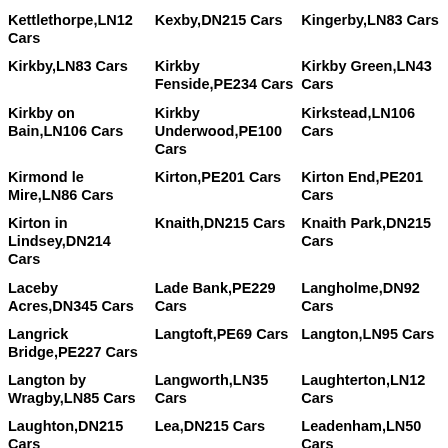Kettlethorpe,LN12 Cars
Kexby,DN215 Cars
Kingerby,LN83 Cars
Kirkby,LN83 Cars
Kirkby Fenside,PE234 Cars
Kirkby Green,LN43 Cars
Kirkby on Bain,LN106 Cars
Kirkby Underwood,PE100 Cars
Kirkstead,LN106 Cars
Kirmond le Mire,LN86 Cars
Kirton,PE201 Cars
Kirton End,PE201 Cars
Kirton in Lindsey,DN214 Cars
Knaith,DN215 Cars
Knaith Park,DN215 Cars
Laceby Acres,DN345 Cars
Lade Bank,PE229 Cars
Langholme,DN92 Cars
Langrick Bridge,PE227 Cars
Langtoft,PE69 Cars
Langton,LN95 Cars
Langton by Wragby,LN85 Cars
Langworth,LN35 Cars
Laughterton,LN12 Cars
Laughton,DN215 Cars
Lea,DN215 Cars
Leadenham,LN50 Cars
Leake Fold Hill,PE229 Cars
Leake Hurns End,PE229 Cars
Leasingham,NG348 Cars